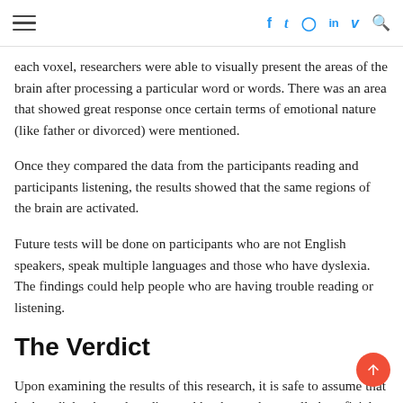☰  f  t  ◎  in  v  🔍
each voxel, researchers were able to visually present the areas of the brain after processing a particular word or words. There was an area that showed great response once certain terms of emotional nature (like father or divorced) were mentioned.
Once they compared the data from the participants reading and participants listening, the results showed that the same regions of the brain are activated.
Future tests will be done on participants who are not English speakers, speak multiple languages and those who have dyslexia. The findings could help people who are having trouble reading or listening.
The Verdict
Upon examining the results of this research, it is safe to assume that both audiobooks and reading real books can be equally beneficial. Only one question remains, and that is which method is more